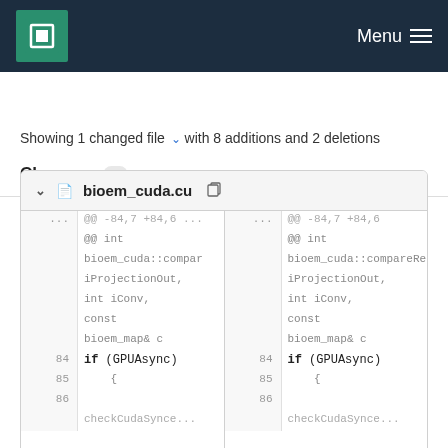MPCDF  Menu
Changes  1
Showing 1 changed file with 8 additions and 2 deletions
bioem_cuda.cu
| line | code (left) | line | code (right) |
| --- | --- | --- | --- |
| ... | @@ -84,7 +84,6 ... | ... | @@ -84,7 +84,6 |
|  | @@ int |  | @@ int |
|  | bioem_cuda::compar |  | bioem_cuda::compareRe |
|  | iProjectionOut, |  | iProjectionOut, |
|  | int iConv, |  | int iConv, |
|  | const |  | const |
|  | bioem_map& c |  | bioem_map& c |
| 84 | if (GPUAsync) | 84 | if (GPUAsync) |
| 85 | { | 85 | { |
| 86 |  | 86 |  |
|  | checkCudaSynce... |  | checkCudaSynce... |